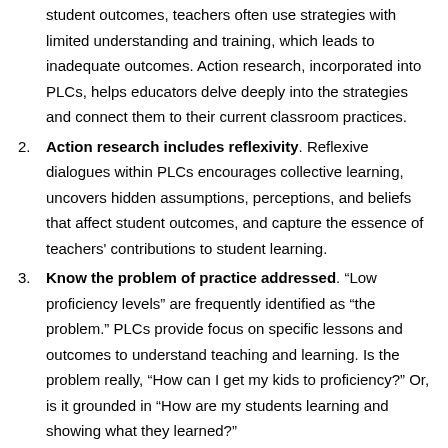student outcomes, teachers often use strategies with limited understanding and training, which leads to inadequate outcomes. Action research, incorporated into PLCs, helps educators delve deeply into the strategies and connect them to their current classroom practices.
Action research includes reflexivity. Reflexive dialogues within PLCs encourages collective learning, uncovers hidden assumptions, perceptions, and beliefs that affect student outcomes, and capture the essence of teachers' contributions to student learning.
Know the problem of practice addressed. "Low proficiency levels" are frequently identified as "the problem." PLCs provide focus on specific lessons and outcomes to understand teaching and learning. Is the problem really, "How can I get my kids to proficiency?" Or, is it grounded in "How are my students learning and showing what they learned?"
Identify the appropriate data sources. Interim and